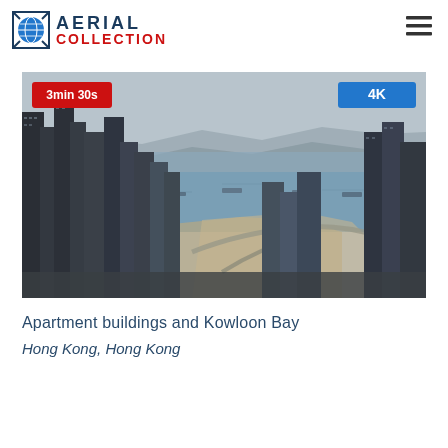AERIAL COLLECTION
[Figure (photo): Aerial view of apartment buildings and Kowloon Bay, Hong Kong. Dense high-rise residential buildings in the foreground with a harbor and mountains in the background. Overlaid badges: '3min 30s' in red bottom-left and '4K' in blue top-right.]
Apartment buildings and Kowloon Bay
Hong Kong, Hong Kong